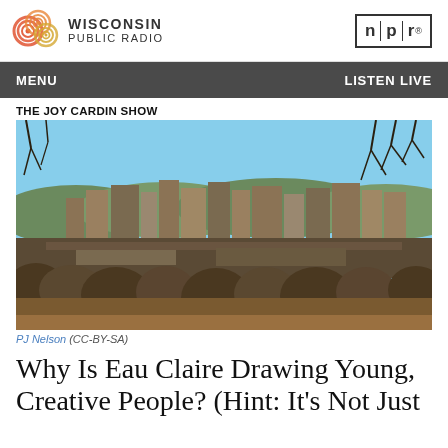Wisconsin Public Radio / NPR
MENU   LISTEN LIVE
THE JOY CARDIN SHOW
[Figure (photo): Aerial view of Eau Claire, Wisconsin downtown skyline in autumn/late fall with bare trees in foreground and buildings in background under a clear blue sky.]
PJ Nelson (CC-BY-SA)
Why Is Eau Claire Drawing Young, Creative People? (Hint: It's Not Just